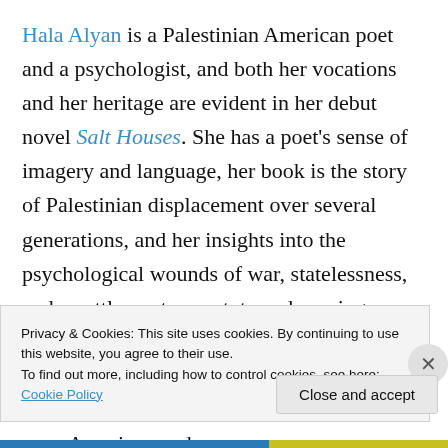Hala Alyan is a Palestinian American poet and a psychologist, and both her vocations and her heritage are evident in her debut novel Salt Houses. She has a poet's sense of imagery and language, her book is the story of Palestinian displacement over several generations, and her insights into the psychological wounds of war, statelessness, and resettlement are astute and moving. While I haven't experienced being a refugee, I've volunteered with resettlement so I've enjoyed the hospitality of people who are at once American and something else, people who feel they belong everywhere
Privacy & Cookies: This site uses cookies. By continuing to use this website, you agree to their use. To find out more, including how to control cookies, see here: Cookie Policy
Close and accept